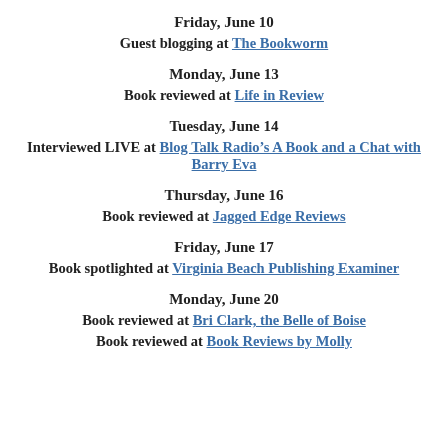Friday, June 10
Guest blogging at The Bookworm
Monday, June 13
Book reviewed at Life in Review
Tuesday, June 14
Interviewed LIVE at Blog Talk Radio’s A Book and a Chat with Barry Eva
Thursday, June 16
Book reviewed at Jagged Edge Reviews
Friday, June 17
Book spotlighted at Virginia Beach Publishing Examiner
Monday, June 20
Book reviewed at Bri Clark, the Belle of Boise
Book reviewed at Book Reviews by Molly